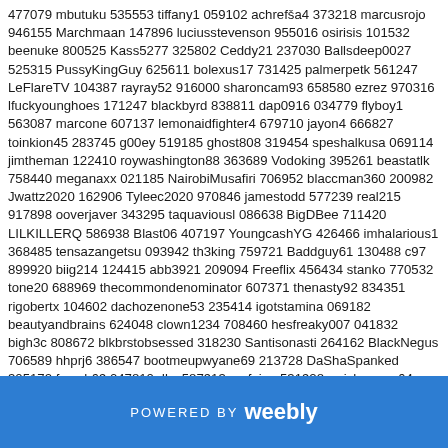477079 mbutuku 535553 tiffany1 059102 achrefβa4 373218 marcusrojo 946155 Marchmaan 147896 luciusstevenson 955016 osirisis 101532 beenuke 800525 Kass5277 325802 Ceddy21 237030 Ballsdeep0027 525315 PussyKingGuy 625611 bolexus17 731425 palmerpetk 561247 LeFlareTV 104387 rayray52 916000 sharoncam93 658580 ezrez 970316 lfuckyounghoes 171247 blackbyrd 838811 dap0916 034779 flyboy1 563087 marcone 607137 lemonaidfighter4 679710 jayon4 666827 toinkion45 283745 g00ey 519185 ghost808 319454 speshalkusa 069114 jimtheman 122410 roywashington88 363689 Vodoking 395261 beastatlk 758440 meganaxx 021185 NairobiMusafiri 706952 blaccman360 200982 Jwattz2020 162906 Tyleec2020 970846 jamestodd 577239 real215 917898 ooverjaver 343295 taquaviousl 086638 BigDBee 711420 LILKILLERQ 586938 Blast06 407197 YoungcashYG 426466 imhalarious1 368485 tensazangetsu 093942 th3king 759721 Baddguy61 130488 c97 899920 biig214 124415 abb3921 209094 Freeflix 456434 stanko 770532 tone20 688969 thecommondenominator 607371 thenasty92 834351 rigobertx 104602 dachozenone53 235414 igotstamina 069182 beautyandbrains 624048 clown1234 708460 hesfreaky007 041832 bigh3c 808672 blkbrstobsessed 318230 Santisonasti 264162 BlackNegus 706589 hhprj6 386547 bootmeupwyane69 213728 DaShaSpanked 305172 frosch69 047810 dkc 587913 mofojoe 531928 swisherman64 586191 XXXWAY 743676 hxvilla 753443 Baben9 156696
POWERED BY weebly